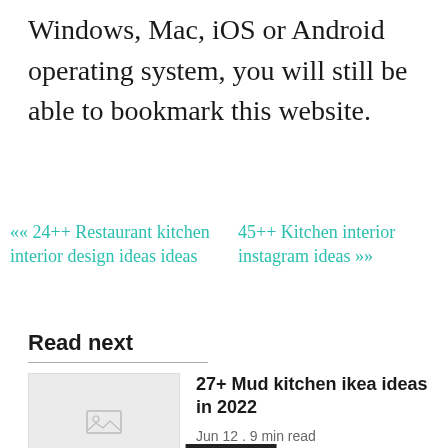Windows, Mac, iOS or Android operating system, you will still be able to bookmark this website.
«« 24++ Restaurant kitchen interior design ideas ideas
45++ Kitchen interior instagram ideas »»
Read next
27+ Mud kitchen ikea ideas in 2022
Jun 12 . 9 min read
[Figure (other): Placeholder thumbnail image for article]
CLOSE ✕